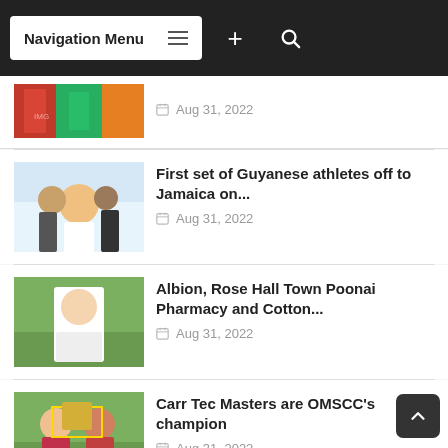Navigation Menu
[Figure (photo): Partial view of athletes in colorful jerseys, cropped at top]
Aug 31, 2022
[Figure (photo): Group of Guyanese athletes taking a selfie at an airport]
First set of Guyanese athletes off to Jamaica on...
Aug 31, 2022
[Figure (photo): Cricket player in white uniform on a green field]
Albion, Rose Hall Town Poonai Pharmacy and Cotton...
Aug 31, 2022
[Figure (photo): Two people holding a trophy on a cricket field]
Carr Tec Masters are OMSCC's champion
Aug 31, 2022